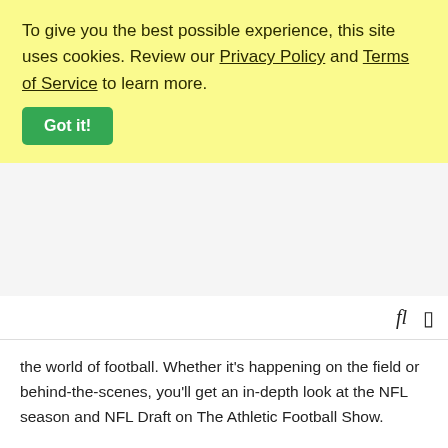To give you the best possible experience, this site uses cookies. Review our Privacy Policy and Terms of Service to learn more.
Got it!
the world of football. Whether it's happening on the field or behind-the-scenes, you'll get an in-depth look at the NFL season and NFL Draft on The Athletic Football Show.
PFF NFL Daily
44M  AGO
PFF's Steve Palazzolo and Sam Monson are